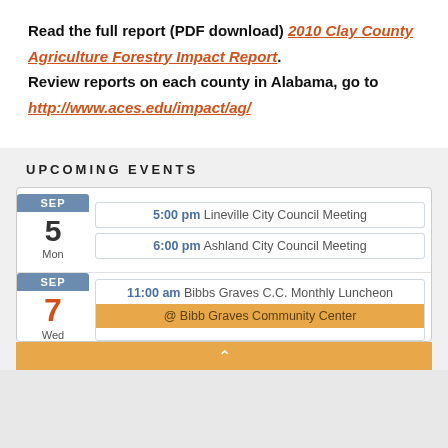Read the full report (PDF download) 2010 Clay County Agriculture Forestry Impact Report.
Review reports on each county in Alabama, go to http://www.aces.edu/impact/ag/
UPCOMING EVENTS
| Date | Event |
| --- | --- |
| SEP 5 Mon | 5:00 pm Lineville City Council Meeting |
| SEP 5 Mon | 6:00 pm Ashland City Council Meeting |
| SEP 7 Wed | 11:00 am Bibbs Graves C.C. Monthly Luncheon @ Bibb Graves Community Center |